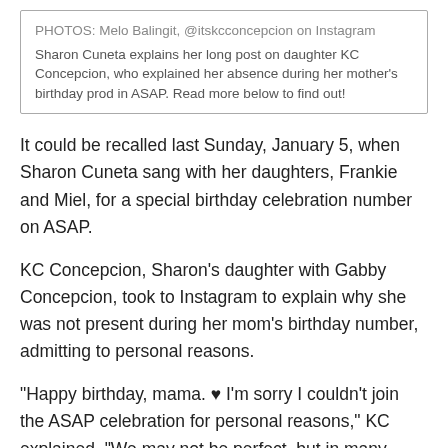PHOTOS: Melo Balingit, @itskcconcepcion on Instagram
Sharon Cuneta explains her long post on daughter KC Concepcion, who explained her absence during her mother's birthday prod in ASAP. Read more below to find out!
It could be recalled last Sunday, January 5, when Sharon Cuneta sang with her daughters, Frankie and Miel, for a special birthday celebration number on ASAP.
KC Concepcion, Sharon's daughter with Gabby Concepcion, took to Instagram to explain why she was not present during her mom's birthday number, admitting to personal reasons.
"Happy birthday, mama. ♥ I'm sorry I couldn't join the ASAP celebration for personal reasons," KC explained. "We may not be perfect, but in many